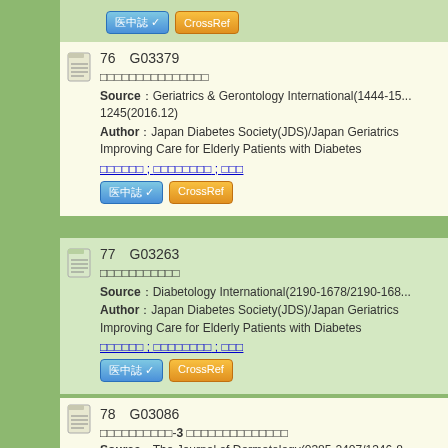76　G03379
[Japanese title]
Source：Geriatrics & Gerontology International(1444-15...1245(2016.12)
Author：Japan Diabetes Society(JDS)/Japan Geriatrics Improving Care for Elderly Patients with Diabetes
[Japanese author links]
77　G03263
[Japanese title]
Source：Diabetology International(2190-1678/2190-168...
Author：Japan Diabetes Society(JDS)/Japan Geriatrics Improving Care for Elderly Patients with Diabetes
[Japanese author links]
78　G03086
[Japanese title]-3 [Japanese subtitle]
Source：The Journal of Dermatology(0385-2407/1346-8...